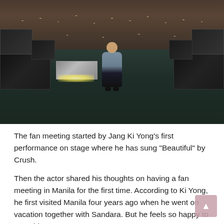[Figure (photo): A man sitting cross-legged on a dark stage floor in front of a large audience filling the seats behind him. Stage equipment and speakers are visible on the sides.]
The fan meeting started by Jang Ki Yong's first performance on stage where he has sung "Beautiful" by Crush.
Then the actor shared his thoughts on having a fan meeting in Manila for the first time. According to Ki Yong, he first visited Manila four years ago when he went on vacation together with Sandara. But he feels so happy to meet his